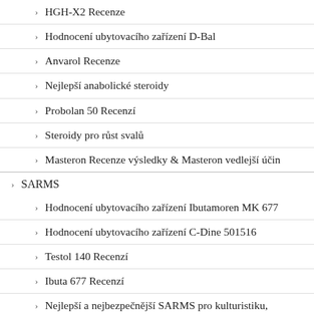HGH-X2 Recenze
Hodnocení ubytovacího zařízení D-Bal
Anvarol Recenze
Nejlepší anabolické steroidy
Probolan 50 Recenzí
Steroidy pro růst svalů
Masteron Recenze výsledky & Masteron vedlejší účin
SARMS
Hodnocení ubytovacího zařízení Ibutamoren MK 677
Hodnocení ubytovacího zařízení C-Dine 501516
Testol 140 Recenzí
Ibuta 677 Recenzí
Nejlepší a nejbezpečnější SARMS pro kulturistiku,